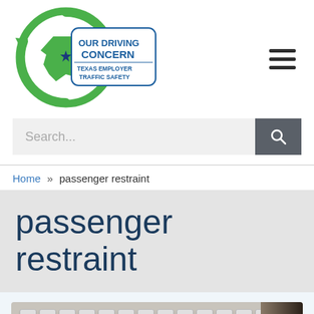[Figure (logo): Our Driving Concern — Texas Employer Traffic Safety logo: circular green arrows with Texas state shape and blue star, text 'OUR DRIVING CONCERN TEXAS EMPLOYER TRAFFIC SAFETY']
Search...
Home » passenger restraint
passenger restraint
[Figure (photo): Partial photo of a laptop keyboard, close-up, white keys on dark laptop body]